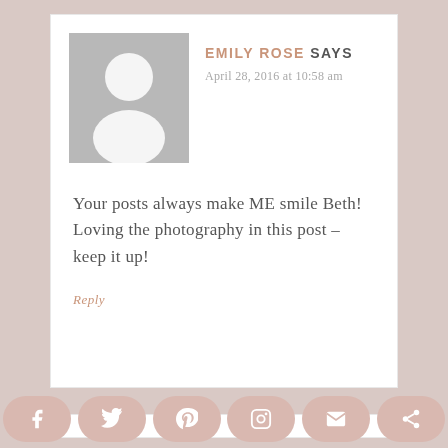[Figure (illustration): Gray default avatar/silhouette icon showing person outline]
EMILY ROSE SAYS
April 28, 2016 at 10:58 am
Your posts always make ME smile Beth! Loving the photography in this post – keep it up!
Reply
[Figure (illustration): Social media share bar with icons for Facebook, Twitter, Pinterest, Instagram, Email, Share]